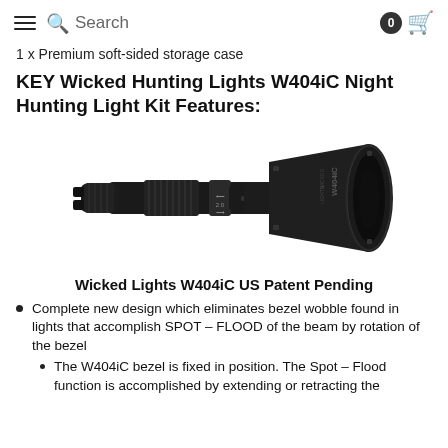≡  🔍 Search  0 🛒
1 x Premium soft-sided storage case
KEY Wicked Hunting Lights W404iC Night Hunting Light Kit Features:
[Figure (photo): Photo of the Wicked Lights W404iC flashlight/hunting light, a black tactical flashlight with a large conical bezel head on the right and a smaller tail section on the left, showing the W404iC logo on the bezel.]
Wicked Lights W404iC US Patent Pending
Complete new design which eliminates bezel wobble found in lights that accomplish SPOT – FLOOD of the beam by rotation of the bezel
The W404iC bezel is fixed in position.  The Spot – Flood function is accomplished by extending or retracting the